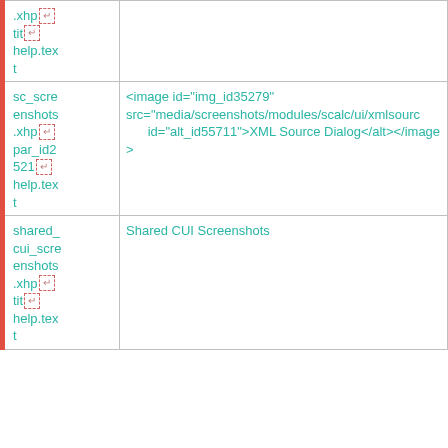| File | Content |
| --- | --- |
| .xhp [newline] tit [newline] help.tex t |  |
| sc_scre enshots .xhp [newline] par_id2 521 [newline] help.tex t | <image id="img_id35279" src="media/screenshots/modules/scalc/ui/xmlsource id="alt_id55711">XML Source Dialog</alt></antml:image> |
| shared_ cui_scre enshots .xhp [newline] tit [newline] help.tex t | Shared CUI Screenshots |